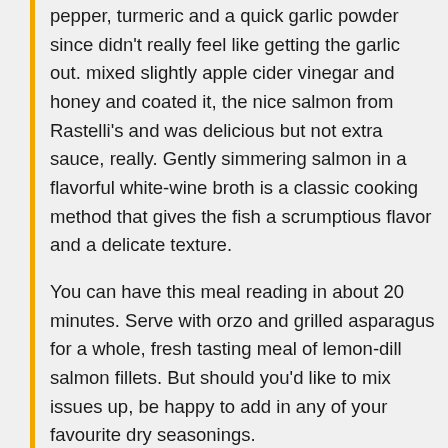pepper, turmeric and a quick garlic powder since didn't really feel like getting the garlic out. mixed slightly apple cider vinegar and honey and coated it, the nice salmon from Rastelli's and was delicious but not extra sauce, really. Gently simmering salmon in a flavorful white-wine broth is a classic cooking method that gives the fish a scrumptious flavor and a delicate texture.
You can have this meal reading in about 20 minutes. Serve with orzo and grilled asparagus for a whole, fresh tasting meal of lemon-dill salmon fillets. But should you'd like to mix issues up, be happy to add in any of your favourite dry seasonings.
However, after I want to embody a facet dish